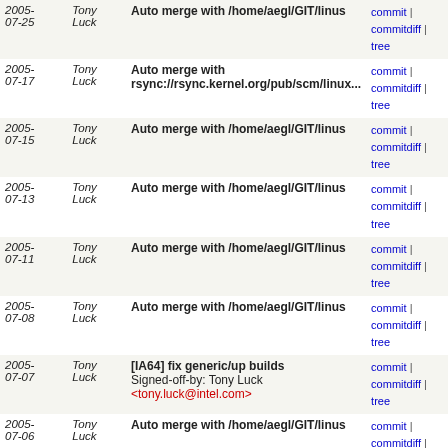| Date | Author | Description | Links |
| --- | --- | --- | --- |
| 2005-07-25 | Tony Luck | Auto merge with /home/aegl/GIT/linus | commit | commitdiff | tree |
| 2005-07-17 | Tony Luck | Auto merge with rsync://rsync.kernel.org/pub/scm/linux... | commit | commitdiff | tree |
| 2005-07-15 | Tony Luck | Auto merge with /home/aegl/GIT/linus | commit | commitdiff | tree |
| 2005-07-13 | Tony Luck | Auto merge with /home/aegl/GIT/linus | commit | commitdiff | tree |
| 2005-07-11 | Tony Luck | Auto merge with /home/aegl/GIT/linus | commit | commitdiff | tree |
| 2005-07-08 | Tony Luck | Auto merge with /home/aegl/GIT/linus | commit | commitdiff | tree |
| 2005-07-07 | Tony Luck | [IA64] fix generic/up builds
Signed-off-by: Tony Luck <tony.luck@intel.com> | commit | commitdiff | tree |
| 2005-07-06 | Tony Luck | Auto merge with /home/aegl/GIT/linus | commit | commitdiff | tree |
| 2005-06-29 | Tony Luck | [IA64] Update zx1_defconfig
Signed-off-by: Tony Luck <tony.luck@intel.com> | commit | commitdiff | tree |
| 2005-06-29 | Tony Luck | [IA64] Update tiger_defconfig
Signed-off-by: Tony Luck <tony.luck@intel.com> | commit | commitdiff | tree |
| 2005-06-29 | Tony Luck | Auto merge with /home/aegl/GIT/linus | commit | commitdiff | tree |
| 2005-06-29 | Tony Luck | Auto merge with /home/aegl/GIT/ia64-test | commit | commitdiff |